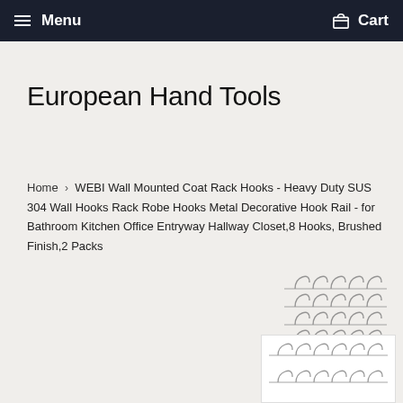Menu   Cart
European Hand Tools
Home › WEBI Wall Mounted Coat Rack Hooks - Heavy Duty SUS 304 Wall Hooks Rack Robe Hooks Metal Decorative Hook Rail - for Bathroom Kitchen Office Entryway Hallway Closet,8 Hooks, Brushed Finish,2 Packs
[Figure (photo): Product image of a wall-mounted coat rack with multiple hooks, brushed metal finish, shown as thumbnail]
[Figure (photo): Second product thumbnail of same wall-mounted coat rack hooks, brushed finish, two rows visible]